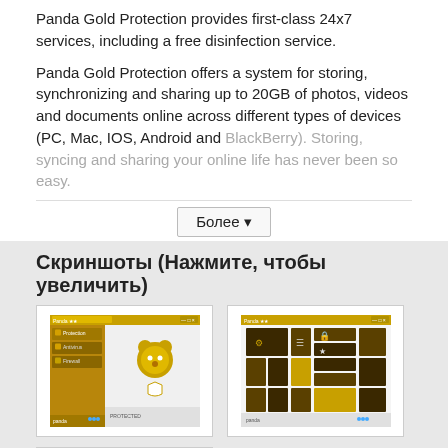Panda Gold Protection provides first-class 24x7 services, including a free disinfection service.
Panda Gold Protection offers a system for storing, synchronizing and sharing up to 20GB of photos, videos and documents online across different types of devices (PC, Mac, IOS, Android and BlackBerry). Storing, syncing and sharing your online life has never been so easy.
Более ▾
Скриншоты (Нажмите, чтобы увеличить)
[Figure (screenshot): Panda Gold Protection main dashboard screenshot showing gold/brown interface with bear logo]
[Figure (screenshot): Panda Gold Protection dark grid interface screenshot with gold and brown tiles]
[Figure (screenshot): Panda Gold Protection colorful tile interface screenshot with green, blue and gold tiles]